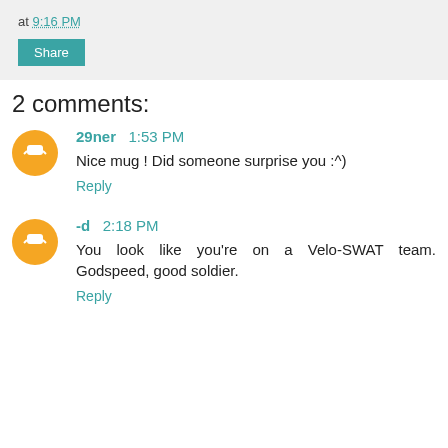at 9:16 PM
Share
2 comments:
29ner 1:53 PM
Nice mug ! Did someone surprise you :^)
Reply
-d 2:18 PM
You look like you're on a Velo-SWAT team. Godspeed, good soldier.
Reply